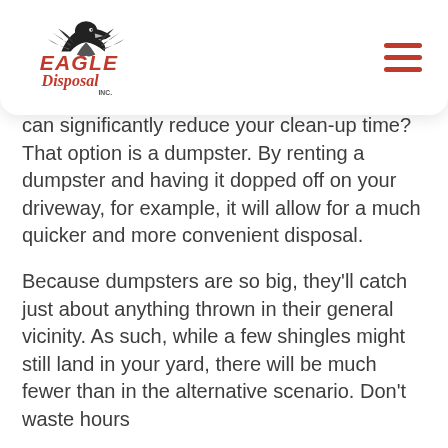Eagle Disposal Inc.
can significantly reduce your clean-up time? That option is a dumpster. By renting a dumpster and having it dopped off on your driveway, for example, it will allow for a much quicker and more convenient disposal.
Because dumpsters are so big, they'll catch just about anything thrown in their general vicinity. As such, while a few shingles might still land in your yard, there will be much fewer than in the alternative scenario. Don't waste hours